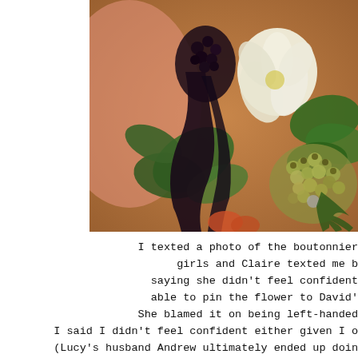[Figure (photo): Close-up photo of a floral boutonniere arrangement featuring a white flower, dark berries, green leaves, and small clustered buds, set against a warm brown background.]
I texted a photo of the boutonnier… girls and Claire texted me b… saying she didn't feel confident able to pin the flower to David'… She blamed it on being left-handed I said I didn't feel confident either given I o… (Lucy's husband Andrew ultimately ended up doin…